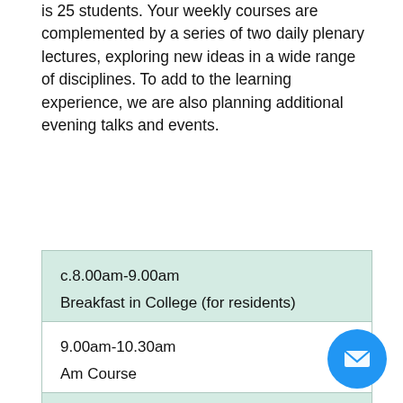is 25 students. Your weekly courses are complemented by a series of two daily plenary lectures, exploring new ideas in a wide range of disciplines. To add to the learning experience, we are also planning additional evening talks and events.
| c.8.00am-9.00am | Breakfast in College (for residents) |
| 9.00am-10.30am | Am Course |
| 11.15am-12.30pm | Plenary Lecture |
| 12.30pm-1.45pm |  |
[Figure (other): Blue circular email/contact button in bottom-right corner]